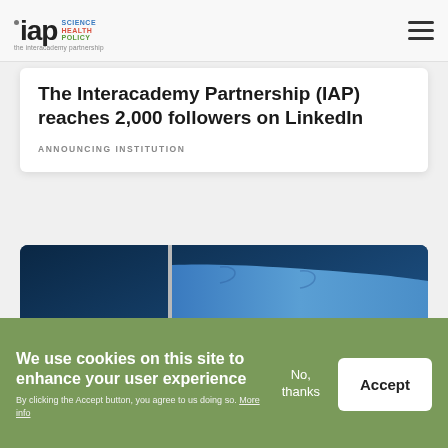IAP Science Health Policy – The Interacademy Partnership
The Interacademy Partnership (IAP) reaches 2,000 followers on LinkedIn
ANNOUNCING INSTITUTION
[Figure (photo): Ukrainian flag flying on a flagpole against a dark blue sky]
We use cookies on this site to enhance your user experience. By clicking the Accept button, you agree to us doing so. More info